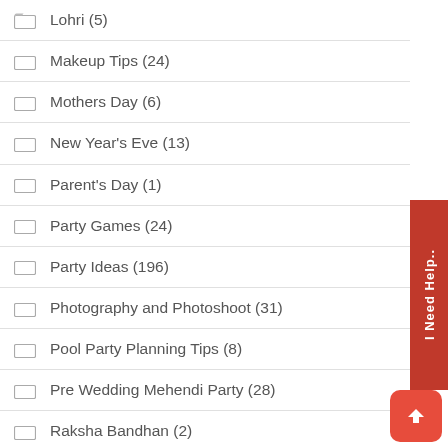Lohri (5)
Makeup Tips (24)
Mothers Day (6)
New Year's Eve (13)
Parent's Day (1)
Party Games (24)
Party Ideas (196)
Photography and Photoshoot (31)
Pool Party Planning Tips (8)
Pre Wedding Mehendi Party (28)
Raksha Bandhan (2)
Republic Day (2)
Retirement Party (5)
Reunion (9)